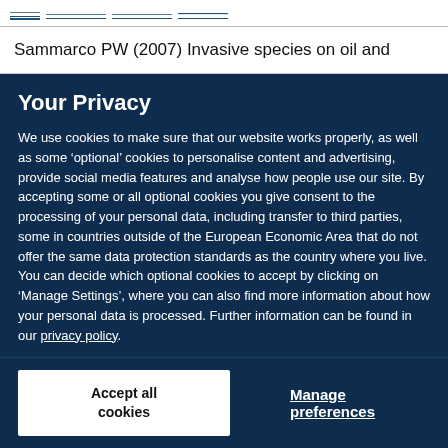Sammarco PW (2007) Invasive species on oil and
Your Privacy
We use cookies to make sure that our website works properly, as well as some ‘optional’ cookies to personalise content and advertising, provide social media features and analyse how people use our site. By accepting some or all optional cookies you give consent to the processing of your personal data, including transfer to third parties, some in countries outside of the European Economic Area that do not offer the same data protection standards as the country where you live. You can decide which optional cookies to accept by clicking on ‘Manage Settings’, where you can also find more information about how your personal data is processed. Further information can be found in our privacy policy.
Accept all cookies
Manage preferences